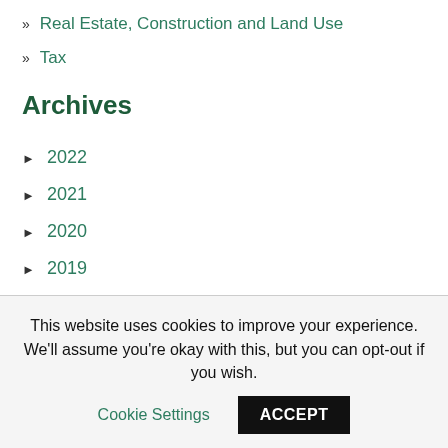Real Estate, Construction and Land Use
Tax
Archives
2022
2021
2020
2019
2018
2017
2016
This website uses cookies to improve your experience. We'll assume you're okay with this, but you can opt-out if you wish.
Cookie Settings
ACCEPT